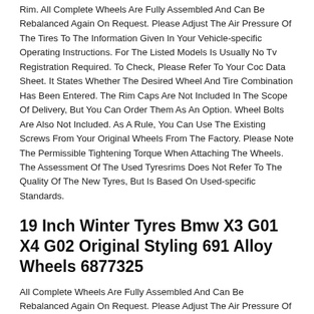Rim. All Complete Wheels Are Fully Assembled And Can Be Rebalanced Again On Request. Please Adjust The Air Pressure Of The Tires To The Information Given In Your Vehicle-specific Operating Instructions. For The Listed Models Is Usually No Tv Registration Required. To Check, Please Refer To Your Coc Data Sheet. It States Whether The Desired Wheel And Tire Combination Has Been Entered. The Rim Caps Are Not Included In The Scope Of Delivery, But You Can Order Them As An Option. Wheel Bolts Are Also Not Included. As A Rule, You Can Use The Existing Screws From Your Original Wheels From The Factory. Please Note The Permissible Tightening Torque When Attaching The Wheels. The Assessment Of The Used Tyresrims Does Not Refer To The Quality Of The New Tyres, But Is Based On Used-specific Standards.
19 Inch Winter Tyres Bmw X3 G01 X4 G02 Original Styling 691 Alloy Wheels 6877325
All Complete Wheels Are Fully Assembled And Can Be Rebalanced Again On Request. Please Adjust The Air Pressure Of The Tires To The Information Given In Your Vehicle-specific Operating Instructions. For The Listed Models Is Usually No Tv Registration Required. To Check, Please Refer To Your Coc Data Sheet. It States Whether The Desired Wheel And Tire Combination Has Been Entered. The Rim Caps Are Not Included In The Scope Of Delivery,